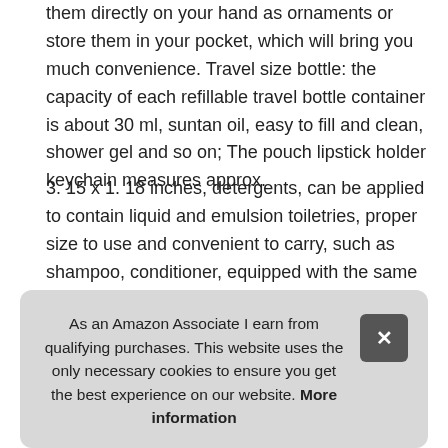them directly on your hand as ornaments or store them in your pocket, which will bring you much convenience. Travel size bottle: the capacity of each refillable travel bottle container is about 30 ml, suntan oil, easy to fill and clean, shower gel and so on; The pouch lipstick holder keychain measures approx.
3. 15 x 1. 18 inches, detergents, can be applied to contain liquid and emulsion toiletries, proper size to use and convenient to carry, such as shampoo, conditioner, equipped with the same style wristlet keychain lanyards for you to hang these keychain holders on the bag easily.
More information #ad
Abu inclu keyc and combination and adequate quantity can meet your daily needs
As an Amazon Associate I earn from qualifying purchases. This website uses the only necessary cookies to ensure you get the best experience on our website. More information